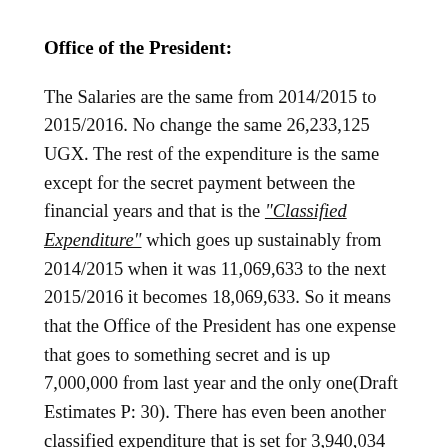Office of the President:
The Salaries are the same from 2014/2015 to 2015/2016. No change the same 26,233,125 UGX. The rest of the expenditure is the same except for the secret payment between the financial years and that is the "Classified Expenditure" which goes up sustainably from 2014/2015 when it was 11,069,633 to the next 2015/2016 it becomes 18,069,633. So it means that the Office of the President has one expense that goes to something secret and is up 7,000,000 from last year and the only one(Draft Estimates P: 30). There has even been another classified expenditure that is set for 3,940,034 UGX and this is not for the